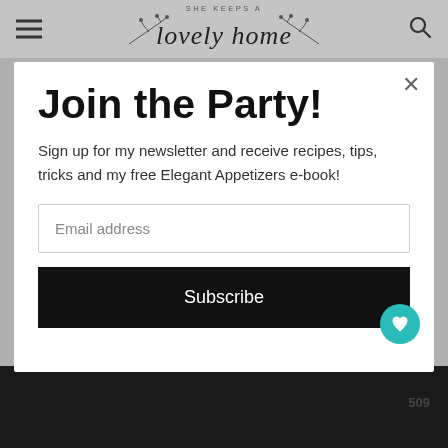SHE KEEPS A lovely home
Join the Party!
Sign up for my newsletter and receive recipes, tips, tricks and my free Elegant Appetizers e-book!
Email address
Subscribe